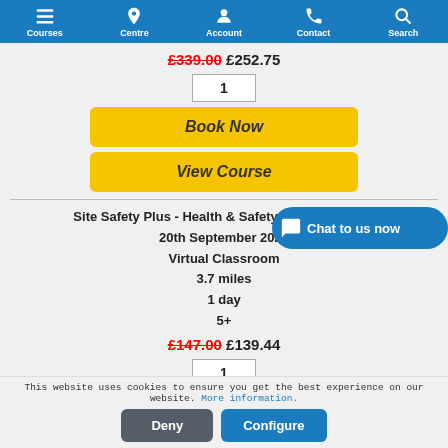Courses | Centre | Account | Contact | Search
£339.00 £252.75
1
Book Now
View Course
Site Safety Plus - Health & Safety Awareness (SS... 20th September 2022 Virtual Classroom 3.7 miles 1 day 5+
£147.00 £139.44
1
Chat to us now
This website uses cookies to ensure you get the best experience on our website. More information.
Deny
Configure